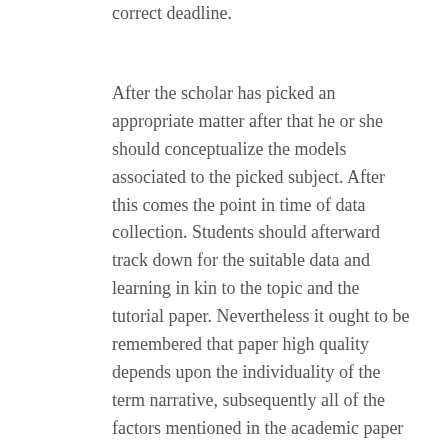correct deadline.
After the scholar has picked an appropriate matter after that he or she should conceptualize the models associated to the picked subject. After this comes the point in time of data collection. Students should afterward track down for the suitable data and learning in kin to the topic and the tutorial paper. Nevertheless it ought to be remembered that paper high quality depends upon the individuality of the term narrative, subsequently all of the factors mentioned in the academic paper or works of others needs to be properly attributed. It is extremely integral buyclomidonlaine.com/buy-clomid-online-now-to-resolve-your-infertility-issue/infertility that plagiarism ought to be nullified at all prices. Also a scholar ought to regularly convey to candles a number of sightings from the very best journalist or look at relating to the topic being debated.